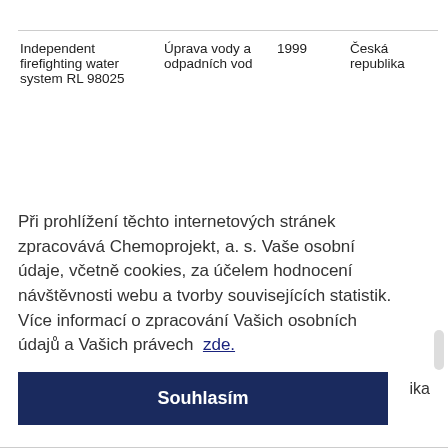| Independent firefighting water system RL 98025 | Úprava vody a odpadních vod | 1999 | Česká republika |
Při prohlížení těchto internetových stránek zpracovává Chemoprojekt, a. s. Vaše osobní údaje, včetně cookies, za účelem hodnocení návštěvnosti webu a tvorby souvisejících statistik. Více informací o zpracování Vašich osobních údajů a Vašich právech zde.
Souhlasím
ika